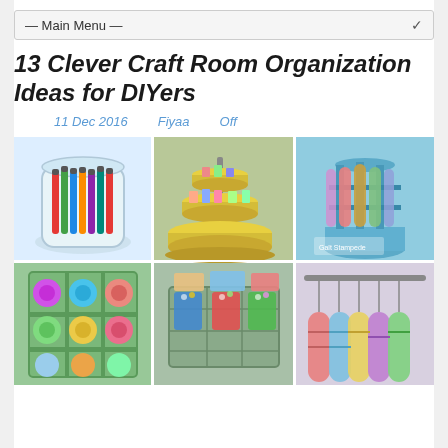— Main Menu —
13 Clever Craft Room Organization Ideas for DIYers
11 Dec 2016    Fiyaa    Off
[Figure (photo): A collage of 6 photos showing craft room organization ideas: markers in a glass jar, tiered yellow tray organizer, rotating blue wrapping paper holder, green ribbon spool organizer, wooden crate with cups for supplies, and hanging wrapping paper rolls.]